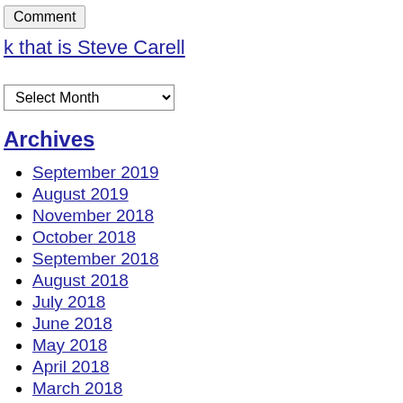Comment
k that is Steve Carell
Select Month
Archives
September 2019
August 2019
November 2018
October 2018
September 2018
August 2018
July 2018
June 2018
May 2018
April 2018
March 2018
February 2018
To top